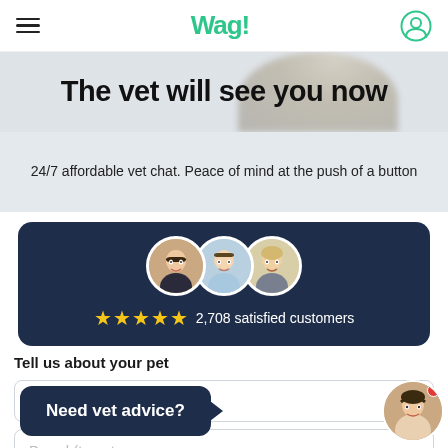Wag!
The vet will see you now
24/7 affordable vet chat. Peace of mind at the push of a button
[Figure (infographic): Three circular avatar photos of veterinarians side by side, with 5 gold stars and text '2,708 satisfied customers' on a dark navy background card]
Tell us about your pet
Pet name
Breed (type to...
[Figure (infographic): Dark navy speech bubble with text 'Need vet advice?' and a circular avatar photo of a woman with a red notification dot]